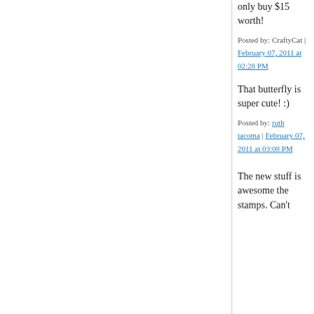only buy $15 worth!
Posted by: CraftyCat | February 07, 2011 at 02:28 PM
[Figure (photo): Green spiral pattern avatar thumbnail]
That butterfly is super cute! :)
Posted by: ruth tacoma | February 07, 2011 at 03:08 PM
[Figure (photo): Orange geometric pattern avatar thumbnail]
The new stuff is awesome the stamps. Can't